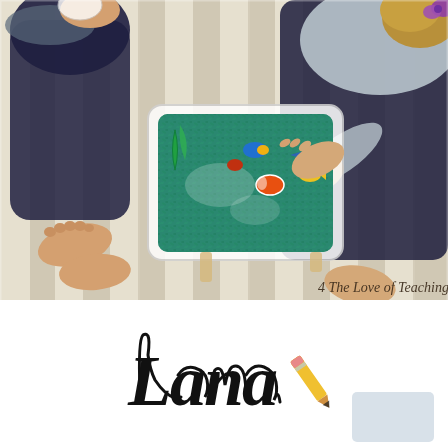[Figure (photo): Overhead view of two children playing with a sensory bin filled with teal/green colored rice and ocean animal toys (fish, sea creatures). The children are barefoot on a striped carpet. One child on the left wears dark navy pants, another on the right wears navy pants and a grey shirt with a purple bow in her hair. A watermark reads '4 The Love of Teaching' in the bottom right of the photo.]
4 The Love of Teaching
[Figure (logo): Script/cursive text reading 'Lana' in large black italic font with a pencil icon (yellow pencil with pink eraser) overlapping the end of the text. To the right is a partially visible light blue/grey square box, likely a social media icon or button.]